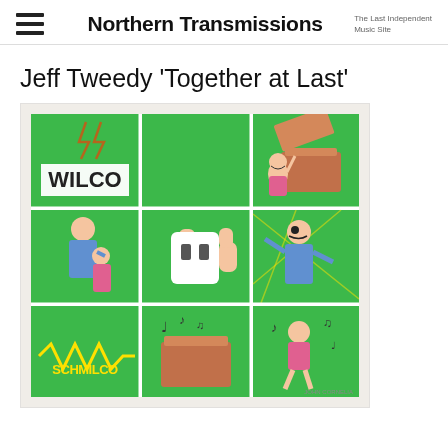Northern Transmissions — The Last Independent Music Site
Jeff Tweedy 'Together at Last'
[Figure (illustration): Wilco / Schmilco album cover art — a 3x3 comic-strip grid on green background featuring cartoon characters. Top-left: WILCO logo with lightning bolts. Top-center: empty green panel. Top-right: cartoon girl at a record player box. Middle-left: man in blue suit with child. Middle-center: electrical plug thumbs-up. Middle-right: man getting electrocuted. Bottom-left: SCHMILCO text with electric wave. Bottom-center: record player with music notes. Bottom-right: girl dancing with music notes. Credit: John Cornelia.]